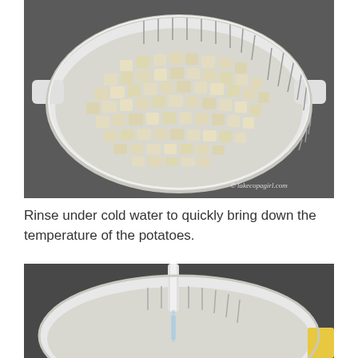[Figure (photo): White colander/strainer bowl filled with diced cooked potatoes, sitting on a dark countertop. Watermark 'lakecopagirl.com' visible in bottom right corner.]
Rinse under cold water to quickly bring down the temperature of the potatoes.
[Figure (photo): White colander/strainer bowl under running water from a faucet, in a sink. The bowl appears empty or partially rinsed. A yellow object is partially visible on the right side.]